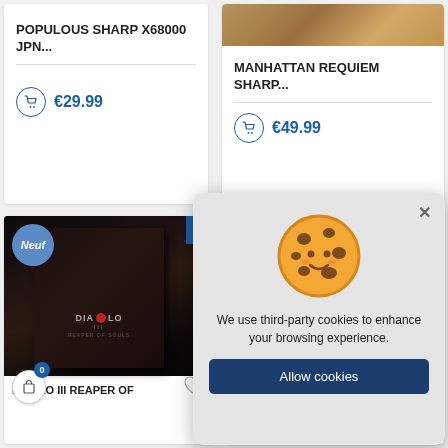POPULOUS SHARP X68000 JPN...
€29.99
MANHATTAN REQUIEM SHARP...
€49.99
[Figure (screenshot): Cookie consent modal with cartoon cookie emoji, text 'We use third-party cookies to enhance your browsing experience.' and 'Allow cookies' button]
DIABLO III REAPER OF
TENNIS WORLD TOUR